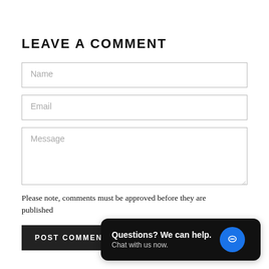LEAVE A COMMENT
Name
Email
Message
Please note, comments must be approved before they are published
POST COMMENT
Questions? We can help. Chat with us now.